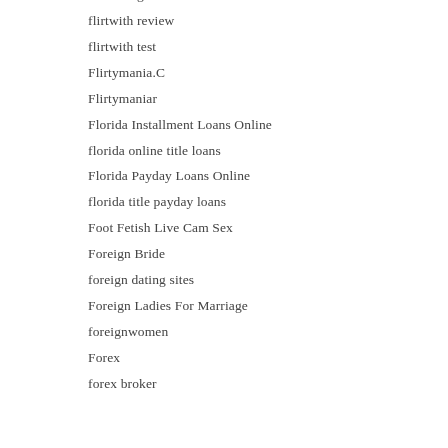flirtwith gratis
flirtwith review
flirtwith test
Flirtymania.C
Flirtymaniar
Florida Installment Loans Online
florida online title loans
Florida Payday Loans Online
florida title payday loans
Foot Fetish Live Cam Sex
Foreign Bride
foreign dating sites
Foreign Ladies For Marriage
foreignwomen
Forex
forex broker